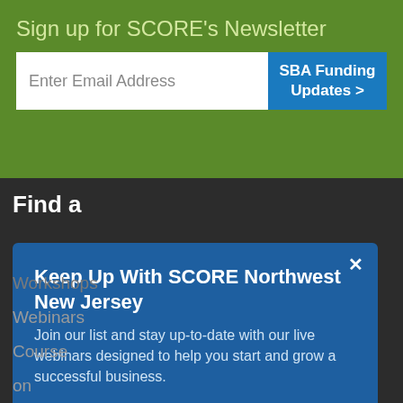Sign up for SCORE's Newsletter
Enter Email Address
SBA Funding Updates >
Find a
Keep Up With SCORE Northwest New Jersey
Join our list and stay up-to-date with our live webinars designed to help you start and grow a successful business.
email address
SUBMIT
Workshops
Webinars
Course
on